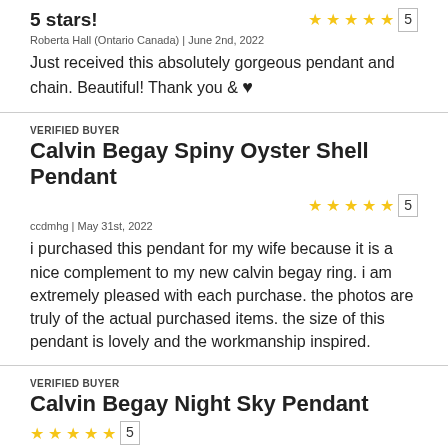5 stars!
Roberta Hall (Ontario Canada) | June 2nd, 2022
Just received this absolutely gorgeous pendant and chain. Beautiful! Thank you & ♥
VERIFIED BUYER
Calvin Begay Spiny Oyster Shell Pendant
ccdmhg | May 31st, 2022
i purchased this pendant for my wife because it is a nice complement to my new calvin begay ring. i am extremely pleased with each purchase. the photos are truly of the actual purchased items. the size of this pendant is lovely and the workmanship inspired.
VERIFIED BUYER
Calvin Begay Night Sky Pendant